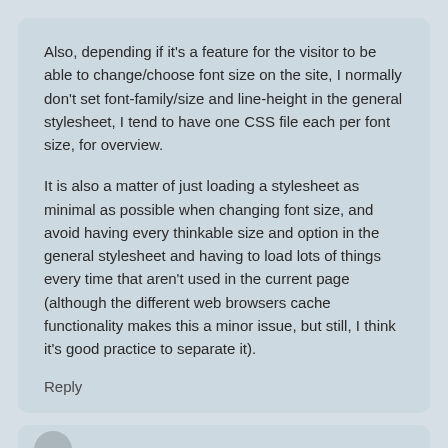Also, depending if it's a feature for the visitor to be able to change/choose font size on the site, I normally don't set font-family/size and line-height in the general stylesheet, I tend to have one CSS file each per font size, for overview.
It is also a matter of just loading a stylesheet as minimal as possible when changing font size, and avoid having every thinkable size and option in the general stylesheet and having to load lots of things every time that aren't used in the current page (although the different web browsers cache functionality makes this a minor issue, but still, I think it's good practice to separate it).
Reply